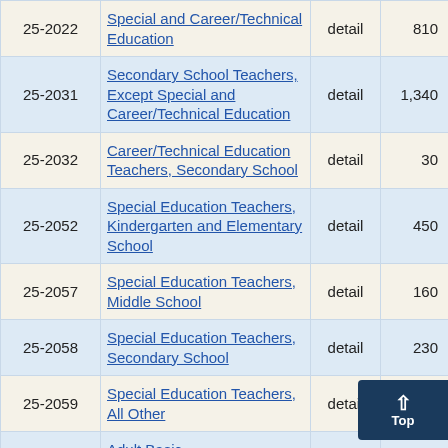| Code | Occupation | Type | Employment | Col5 |
| --- | --- | --- | --- | --- |
| 25-2022 | Special and Career/Technical Education | detail | 810 | 0 |
| 25-2031 | Secondary School Teachers, Except Special and Career/Technical Education | detail | 1,340 | 0 |
| 25-2032 | Career/Technical Education Teachers, Secondary School | detail | 30 | 4 |
| 25-2052 | Special Education Teachers, Kindergarten and Elementary School | detail | 450 | 0 |
| 25-2057 | Special Education Teachers, Middle School | detail | 160 | 0 |
| 25-2058 | Special Education Teachers, Secondary School | detail | 230 | 1 |
| 25-2059 | Special Education Teachers, All Other | detail | 4 |  |
|  | Adult Basic |  |  |  |